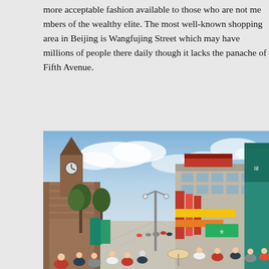more acceptable fashion available to those who are not members of the wealthy elite. The most well-known shopping area in Beijing is Wangfujing Street which may have millions of people there daily though it lacks the panache of Fifth Avenue.
[Figure (photo): Street-level photograph of Wangfujing pedestrian shopping street in Beijing, China. Crowds of people walking along a wide pedestrian boulevard. On the left side is a clock tower attached to a brick building and green trees. On the right side are multi-storey commercial buildings with large colorful Chinese signs and banners in red, green, and yellow. The sky is partly cloudy and blue.]